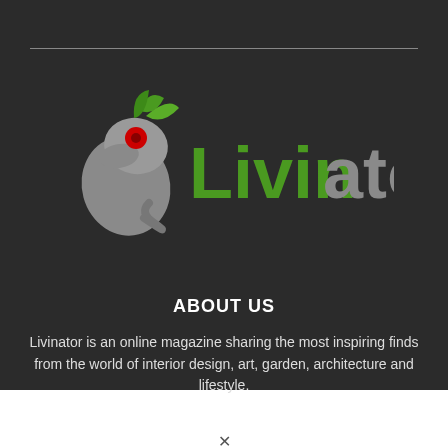[Figure (logo): Livinator logo — stylized bird/chameleon icon in grey with a red eye and green leaf, followed by the brand name 'Livinator' with 'Livin' in green and 'ator' in grey]
ABOUT US
Livinator is an online magazine sharing the most inspiring finds from the world of interior design, art, garden, architecture and lifestyle.